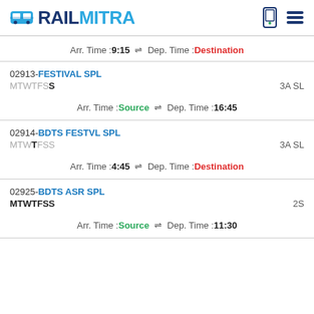RAILMITRA
Arr. Time :9:15 ⇌ Dep. Time :Destination
02913-FESTIVAL SPL
MTWTFSS	3A SL
Arr. Time :Source ⇌ Dep. Time :16:45
02914-BDTS FESTVL SPL
MTWTFSS	3A SL
Arr. Time :4:45 ⇌ Dep. Time :Destination
02925-BDTS ASR SPL
MTWTFSS	2S
Arr. Time :Source ⇌ Dep. Time :11:30